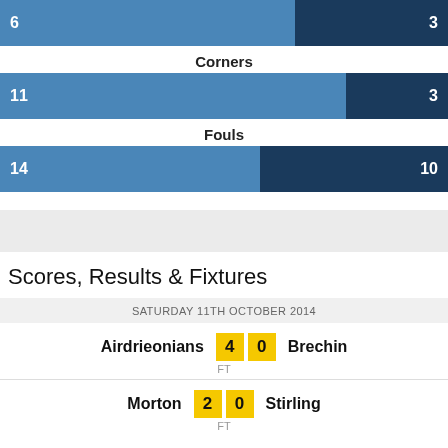[Figure (bar-chart): Shots]
Corners
[Figure (bar-chart): Corners]
Fouls
[Figure (bar-chart): Fouls]
Scores, Results & Fixtures
SATURDAY 11TH OCTOBER 2014
Airdrieonians 4 0 Brechin FT
Morton 2 0 Stirling FT